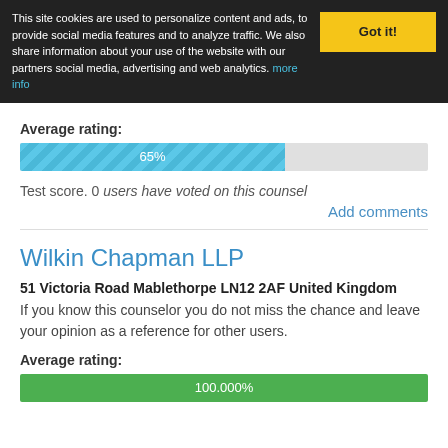This site cookies are used to personalize content and ads, to provide social media features and to analyze traffic. We also share information about your use of the website with our partners social media, advertising and web analytics. more info
Got it!
Average rating:
[Figure (bar-chart): Average rating]
Test score. 0 users have voted on this counsel
Add comments
Wilkin Chapman LLP
51 Victoria Road Mablethorpe LN12 2AF United Kingdom
If you know this counselor you do not miss the chance and leave your opinion as a reference for other users.
Average rating:
[Figure (bar-chart): Average rating]